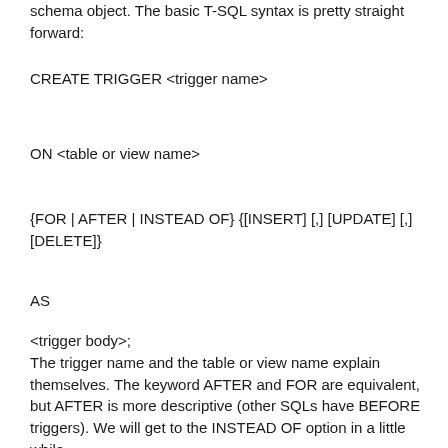schema object. The basic T-SQL syntax is pretty straight forward:
CREATE TRIGGER <trigger name>
ON <table or view name>
{FOR | AFTER | INSTEAD OF} {[INSERT] [,] [UPDATE] [,] [DELETE]}
AS
<trigger body>;
The trigger name and the table or view name explain themselves. The keyword AFTER and FOR are equivalent, but AFTER is more descriptive (other SQLs have BEFORE triggers). We will get to the INSTEAD OF option in a little while.